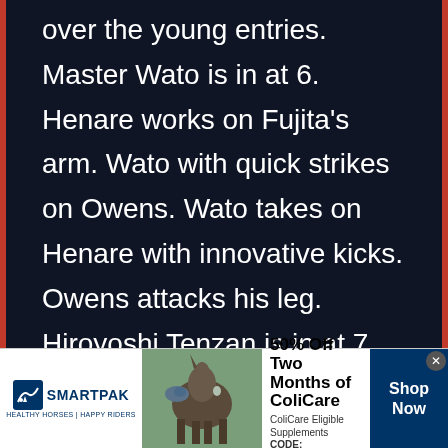over the young entries. Master Wato is in at 6. Henare works on Fujita's arm. Wato with quick strikes on Owens. Wato takes on Henare with innovative kicks. Owens attacks his leg. Hiroyoshi Tenzan is in at 7. Henare is going after Nakashima with sidekicks to his face. Tenzan starts with headbutts on Owens.
Minoru Suzuki enters at 8. He takes eternity to come in. Suzuki puts Fujita in
[Figure (other): SmartPak advertisement banner: 50% Off Two Months of ColiCare, ColiCare Eligible Supplements, CODE: COLICARE10. Shows SmartPak logo with horse icon, image of horse and rider, and Shop Now button.]